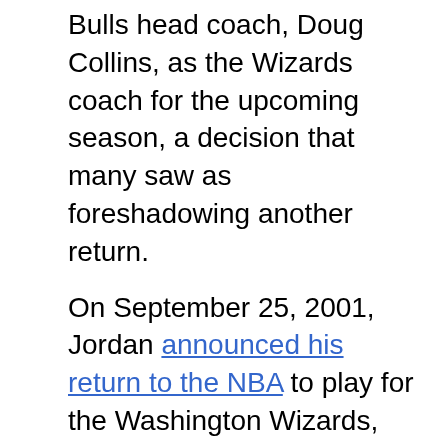Bulls head coach, Doug Collins, as the Wizards coach for the upcoming season, a decision that many saw as foreshadowing another return.
On September 25, 2001, Jordan announced his return to the NBA to play for the Washington Wizards, also announcing his decision to donate his salary as a player to a relief effort for the victims of the September 11, 2001 attacks.
In the 2001-02 season, Jordan led the Wizards in scoring (22.1 ppg), assists (5.2 apg), and steals (1.42 spg). He played in 60 games and a lot of people thought he was done.